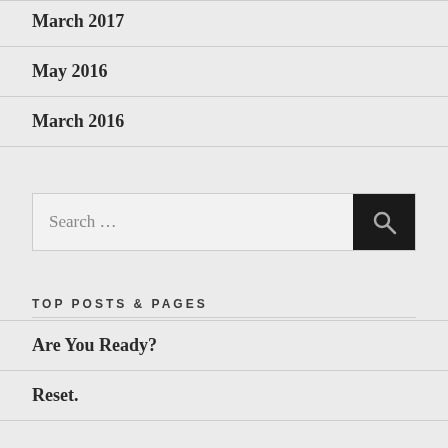March 2017
May 2016
March 2016
[Figure (other): Search box with text 'Search ...' and a black magnifying glass button]
TOP POSTS & PAGES
Are You Ready?
Reset.
TAGS